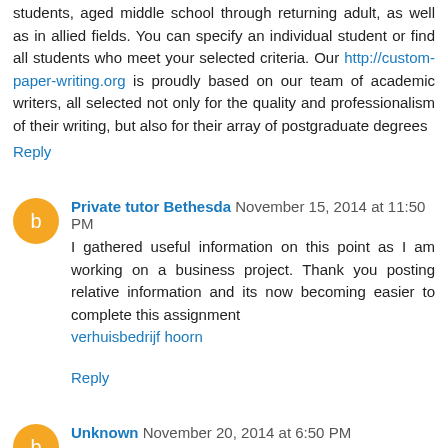students, aged middle school through returning adult, as well as in allied fields. You can specify an individual student or find all students who meet your selected criteria. Our http://custom-paper-writing.org is proudly based on our team of academic writers, all selected not only for the quality and professionalism of their writing, but also for their array of postgraduate degrees
Reply
Private tutor Bethesda  November 15, 2014 at 11:50 PM
I gathered useful information on this point as I am working on a business project. Thank you posting relative information and its now becoming easier to complete this assignment verhuisbedrijf hoorn
Reply
Unknown  November 20, 2014 at 6:50 PM
This comment has been removed by the author.